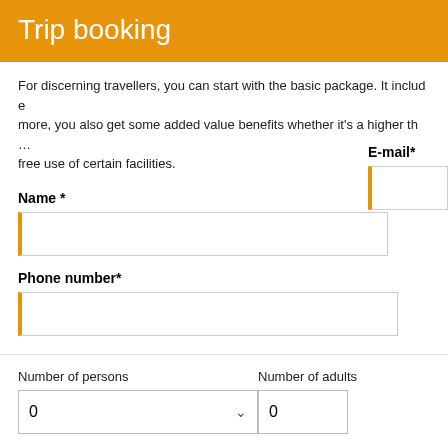Trip booking
For discerning travellers, you can start with the basic package. It includes more, you also get some added value benefits whether it's a higher th... free use of certain facilities.
Name *
E-mail*
Phone number*
Number of persons
Number of adults
Arrival date*
Departure date*
Note **